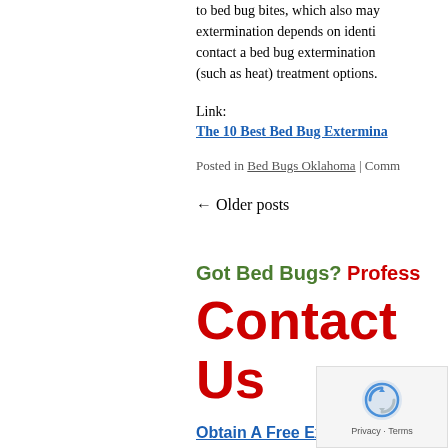to bed bug bites, which also may... extermination depends on identi... contact a bed bug extermination... (such as heat) treatment options.
Link:
The 10 Best Bed Bug Extermina...
Posted in Bed Bugs Oklahoma | Comm...
← Older posts
Got Bed Bugs? Profess...
Contact Us
Obtain A Free Extermi...